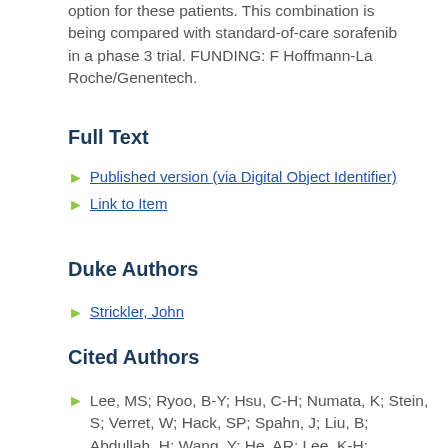option for these patients. This combination is being compared with standard-of-care sorafenib in a phase 3 trial. FUNDING: F Hoffmann-La Roche/Genentech.
Full Text
Published version (via Digital Object Identifier)
Link to Item
Duke Authors
Strickler, John
Cited Authors
Lee, MS; Ryoo, B-Y; Hsu, C-H; Numata, K; Stein, S; Verret, W; Hack, SP; Spahn, J; Liu, B; Abdullah, H; Wang, Y; He, AR; Lee, K-H; GO30140 investigators,